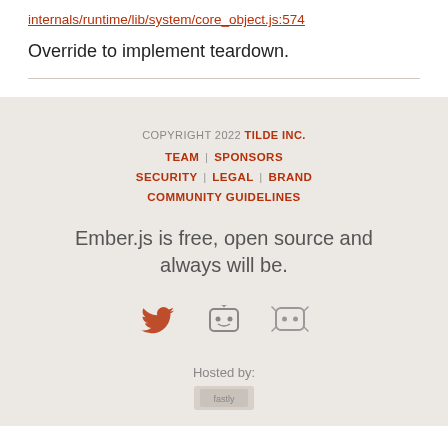internals/runtime/lib/system/core_object.js:574
Override to implement teardown.
COPYRIGHT 2022 TILDE INC. | TEAM | SPONSORS | SECURITY | LEGAL | BRAND | COMMUNITY GUIDELINES
Ember.js is free, open source and always will be.
Hosted by: